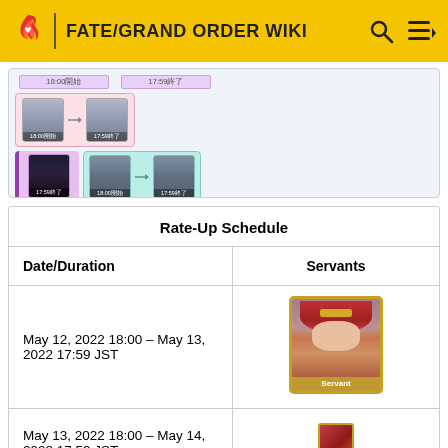FATE/GRAND ORDER WIKI
[Figure (screenshot): Rate-up schedule timeline showing character portraits with Japanese time labels (18:00開始, 17:59終了) in pink and teal colored sections]
| Date/Duration | Servants |
| --- | --- |
| May 12, 2022 18:00 – May 13, 2022 17:59 JST | [Servant image] |
| May 13, 2022 18:00 – May 14, 2022 17:59 JST | [Servant thumbnail] |